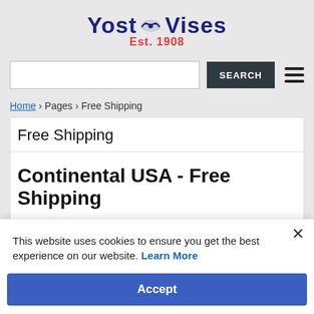[Figure (logo): Yost Vises logo with eagle/bird icon, blue text 'Yost Vises', red text 'Est. 1908']
SEARCH
Home › Pages › Free Shipping
Free Shipping
Continental USA - Free Shipping
NUFREE FREIGHT* indicates to the Continental US Ground...
This website uses cookies to ensure you get the best experience on our website. Learn More
Accept